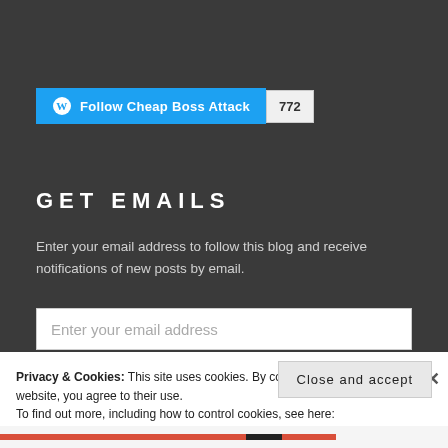[Figure (screenshot): WordPress Follow button with blue background showing 'Follow Cheap Boss Attack' text and WordPress logo, with a follow count badge showing '772']
GET EMAILS
Enter your email address to follow this blog and receive notifications of new posts by email.
Enter your email address
Privacy & Cookies: This site uses cookies. By continuing to use this website, you agree to their use.
To find out more, including how to control cookies, see here:
Cookie Policy
Close and accept